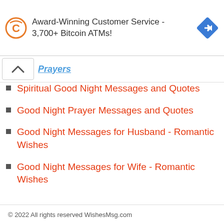[Figure (other): Advertisement banner: Coinstar logo (orange C with circular arrows) and text 'Award-Winning Customer Service - 3,700+ Bitcoin ATMs!' with a blue diamond navigation arrow icon on the right]
Spiritual Good Night Messages and Quotes
Good Night Prayer Messages and Quotes
Good Night Messages for Husband - Romantic Wishes
Good Night Messages for Wife - Romantic Wishes
© 2022 All rights reserved WishesMsg.com